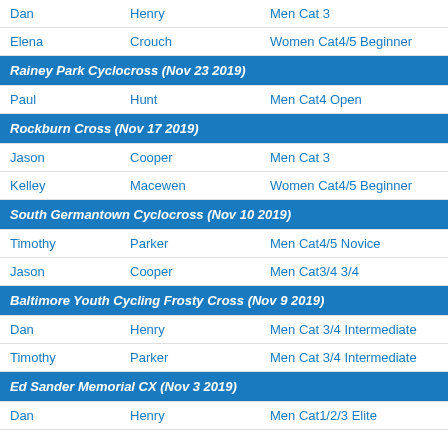| First | Last | Category |
| --- | --- | --- |
| Dan | Henry | Men Cat 3 |
| Elena | Crouch | Women Cat4/5 Beginner |
Rainey Park Cyclocross (Nov 23 2019)
| First | Last | Category |
| --- | --- | --- |
| Paul | Hunt | Men Cat4 Open |
Rockburn Cross (Nov 17 2019)
| First | Last | Category |
| --- | --- | --- |
| Jason | Cooper | Men Cat 3 |
| Kelley | Macewen | Women Cat4/5 Beginner |
South Germantown Cyclocross (Nov 10 2019)
| First | Last | Category |
| --- | --- | --- |
| Timothy | Parker | Men Cat4/5 Novice |
| Jason | Cooper | Men Cat3/4 3/4 |
Baltimore Youth Cycling Frosty Cross (Nov 9 2019)
| First | Last | Category |
| --- | --- | --- |
| Dan | Henry | Men Cat 3/4 Intermediate |
| Timothy | Parker | Men Cat 3/4 Intermediate |
Ed Sander Memorial CX (Nov 3 2019)
| First | Last | Category |
| --- | --- | --- |
| Dan | Henry | Men Cat1/2/3 Elite |